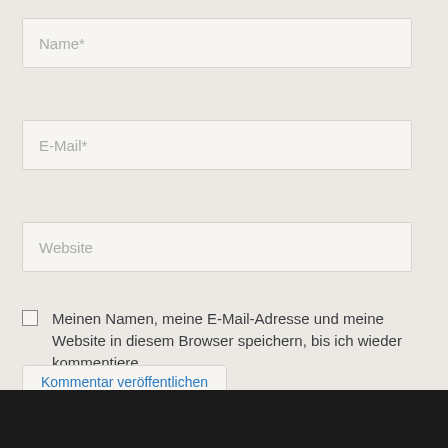Name*
E-Mail*
Website
Meinen Namen, meine E-Mail-Adresse und meine Website in diesem Browser speichern, bis ich wieder kommentiere.
Kommentar veröffentlichen